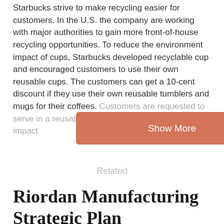Starbucks strive to make recycling easier for customers. In the U.S. the company are working with major authorities to gain more front-of-house recycling opportunities. To reduce the environment impact of cups, Starbucks developed recyclable cup and encouraged customers to use their own reusable cups. The customers can get a 10-cent discount if they use their own reusable tumblers and mugs for their coffees. Customers are requested to serve in a reusable mug if they sta... ce the impact... Some customers think
[Figure (other): Show More button — a salmon/terracotta colored rounded rectangle button with white text 'Show More']
Related
Riordan Manufacturing Strategic Plan